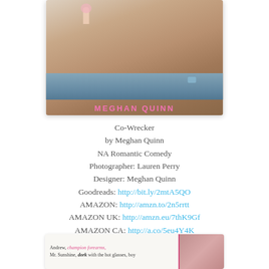[Figure (photo): Book cover for Co-Wrecker by Meghan Quinn showing a shirtless male torso holding an ice cream cone, with pink author name text at the bottom of the cover]
Co-Wrecker
by Meghan Quinn
NA Romantic Comedy
Photographer: Lauren Perry
Designer: Meghan Quinn
Goodreads: http://bit.ly/2mtA5QO
AMAZON: http://amzn.to/2n5rrtt
AMAZON UK: http://amzn.eu/7thK9Gf
AMAZON CA: http://a.co/5eu4Y4K
[Figure (photo): Promotional book image with text 'Andrew, champion forearms, Mr. Sunshine, dork with the hot glasses, boy' and a photo of a couple]